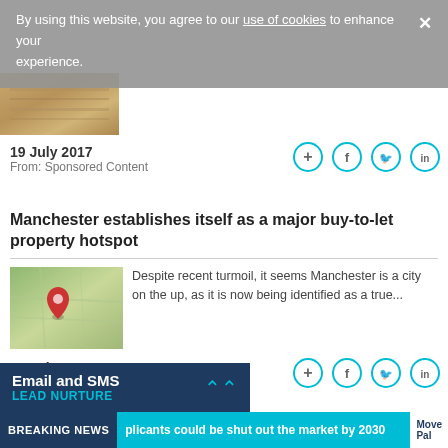By using this website, you agree to our use of cookies to enhance your experience.
[Figure (photo): Partial thumbnail image showing a wood or sandy textured surface at top left]
19 July 2017
From: Sponsored Content
[Figure (infographic): Four circular share icons: add (+), Facebook (f), Twitter bird, LinkedIn (in)]
Manchester establishes itself as a major buy-to-let property hotspot
[Figure (photo): Map image with a red location pin marker indicating Manchester area]
Despite recent turmoil, it seems Manchester is a city on the up, as it is now being identified as a true...
07 July 2017
From: Breaking News
[Figure (infographic): Four circular share icons: add (+), Facebook (f), Twitter bird, LinkedIn (in)]
Email and SMS
LEAD NURTURE
BREAKING NEWS | plicants could be shut out the market by 2030 | MovePal